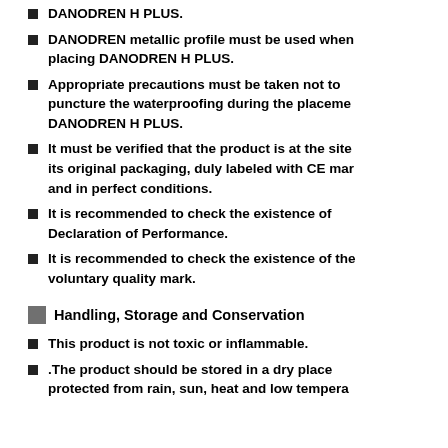DANODREN H PLUS.
DANODREN metallic profile must be used when placing DANODREN H PLUS.
Appropriate precautions must be taken not to puncture the waterproofing during the placement DANODREN H PLUS.
It must be verified that the product is at the site its original packaging, duly labeled with CE mar and in perfect conditions.
It is recommended to check the existence of Declaration of Performance.
It is recommended to check the existence of the voluntary quality mark.
Handling, Storage and Conservation
This product is not toxic or inflammable.
.The product should be stored in a dry place protected from rain, sun, heat and low temperal